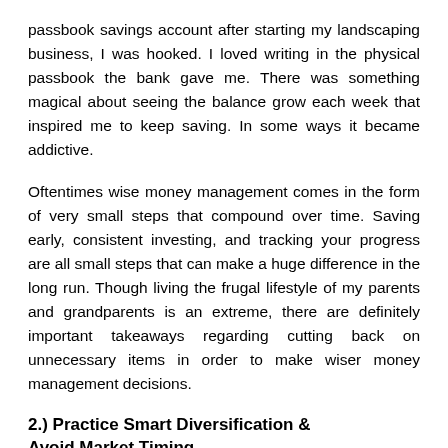passbook savings account after starting my landscaping business, I was hooked. I loved writing in the physical passbook the bank gave me. There was something magical about seeing the balance grow each week that inspired me to keep saving. In some ways it became addictive.
Oftentimes wise money management comes in the form of very small steps that compound over time. Saving early, consistent investing, and tracking your progress are all small steps that can make a huge difference in the long run. Though living the frugal lifestyle of my parents and grandparents is an extreme, there are definitely important takeaways regarding cutting back on unnecessary items in order to make wiser money management decisions.
2.) Practice Smart Diversification & Avoid Market Timing
The next step concerns management the best way th